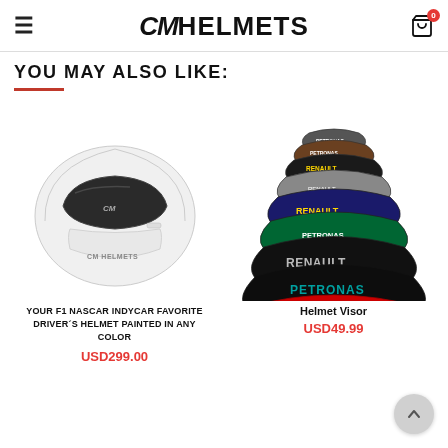CM HELMETS
YOU MAY ALSO LIKE:
[Figure (photo): White racing helmet with dark visor and CM Helmets logo, front three-quarter view]
YOUR F1 NASCAR INDYCAR FAVORITE DRIVER´S HELMET PAINTED IN ANY COLOR
USD299.00
[Figure (photo): Stack of multiple racing helmet visors with various team logos including Petronas, Renault, and Ferrari branding]
Helmet Visor
USD49.99